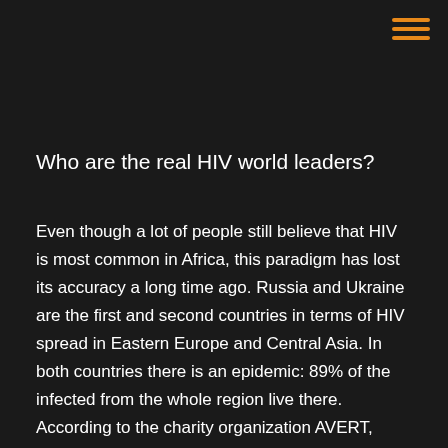≡
Who are the real HIV world leaders?
Even though a lot of people still believe that HIV is most common in Africa, this paradigm has lost its accuracy a long time ago. Russia and Ukraine are the first and second countries in terms of HIV spread in Eastern Europe and Central Asia. In both countries there is an epidemic: 89% of the infected from the whole region live there. According to the charity organization AVERT, Eastern Europe and Central Asia are the only regions in the world where the incidence rate is growing rapidly, and not decreasing